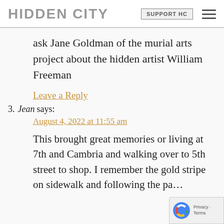HIDDEN CITY | SUPPORT HC
ask Jane Goldman of the murial arts project about the hidden artist William Freeman
Leave a Reply
3. Jean says: August 4, 2022 at 11:55 am
This brought great memories or living at 7th and Cambria and walking over to 5th street to shop. I remember the gold stripe on sidewalk and following the pa…